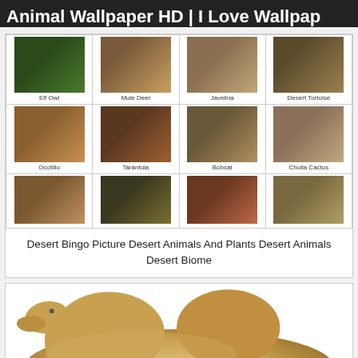Animal Wallpaper HD | I Love Wallpap
[Figure (photo): Desert Bingo grid showing photos of desert animals and plants: Elf Owl, Mule Deer, Javelina, Desert Tortoise, Ocotillo, Tarantula, Bobcat, Cholla Cactus, and a partial bottom row with squirrel, snake, flowers, lizard]
Desert Bingo Picture Desert Animals And Plants Desert Animals Desert Biome
[Figure (photo): Large photo of a Bactrian camel (two humps) standing on white background, tan/beige fur, viewed from the side]